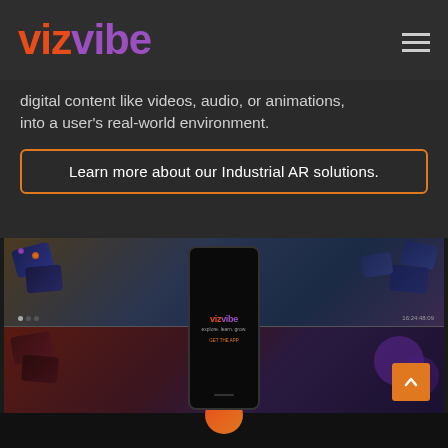[Figure (logo): VizVibe logo with 'viz' in orange-red and 'vibe' in purple gradient]
digital content like videos, audio, or animations, into a user's real-world environment.
Learn more about our Industrial AR solutions.
[Figure (photo): Person holding a smartphone showing the VizVibe app logo and tagline 'explore. learn. grow.' surrounded by scattered AR cards on a wooden surface, with a colorful AR overlay scene below showing the same setup with purple and red lighting]